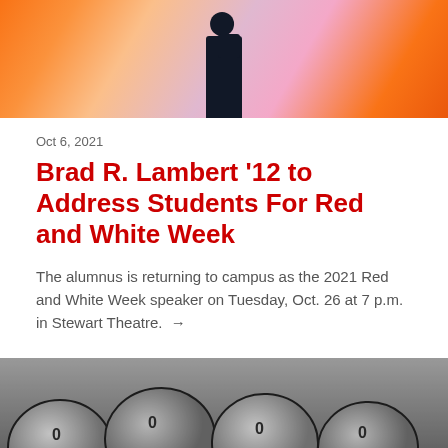[Figure (photo): Man standing on stage in front of colorful orange and pink abstract background]
Oct 6, 2021
Brad R. Lambert '12 to Address Students For Red and White Week
The alumnus is returning to campus as the 2021 Red and White Week speaker on Tuesday, Oct. 26 at 7 p.m. in Stewart Theatre. →
[Figure (photo): Black and white photograph of football players in helmets and jerseys during a game]